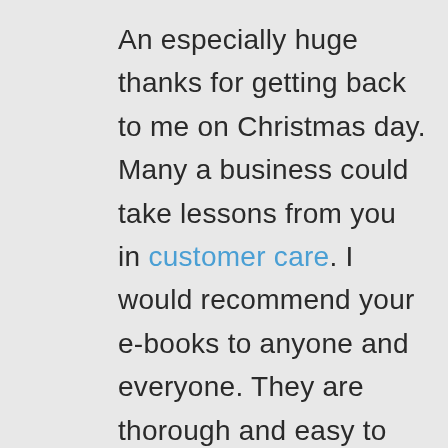An especially huge thanks for getting back to me on Christmas day. Many a business could take lessons from you in customer care. I would recommend your e-books to anyone and everyone. They are thorough and easy to follow. If anyone is considering getting an e-book from you, then they need to just go ahead and get it. You've taken the risk factor out of the purchase and seriously stand behind your product. :-) It's a great